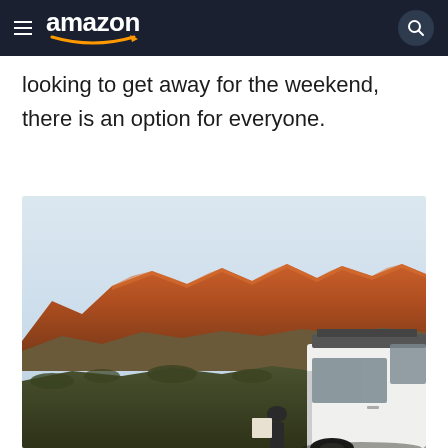amazon
looking to get away for the weekend, there is an option for everyone.
[Figure (photo): A white camper van parked in front of a dramatic red rock mountain range at golden hour, with desert scrub vegetation in the foreground and a pale sky above.]